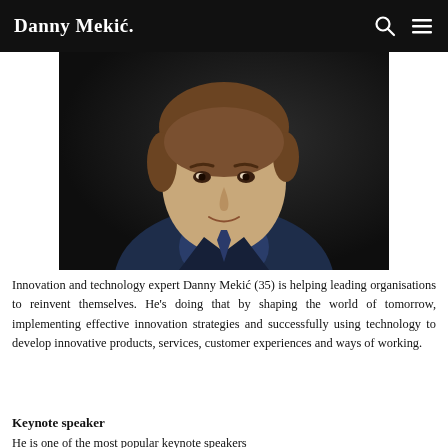Danny Mekić.
[Figure (photo): Portrait photo of Danny Mekić, a young man with brown hair wearing a dark blue suit jacket, photographed against a dark background.]
Innovation and technology expert Danny Mekić (35) is helping leading organisations to reinvent themselves. He's doing that by shaping the world of tomorrow, implementing effective innovation strategies and successfully using technology to develop innovative products, services, customer experiences and ways of working.
Keynote speaker
He is one of the most popular keynote speakers